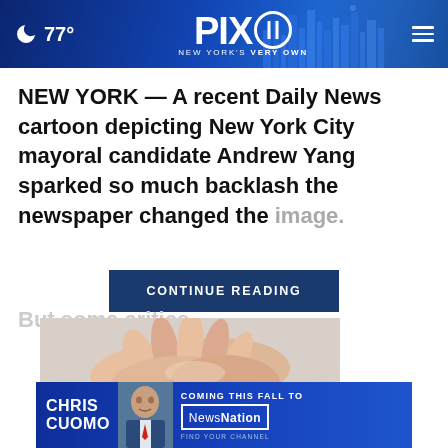PIX11 NEW YORK'S VERY OWN — 77°
NEW YORK — A recent Daily News cartoon depicting New York City mayoral candidate Andrew Yang sparked so much backlash the newspaper changed the image.
CONTINUE READING
[Figure (photo): Close-up photo of hands, partially visible, with a blue background.]
[Figure (advertisement): Chris Cuomo Coming This Fall to NewsNation advertisement banner with photo of Chris Cuomo.]